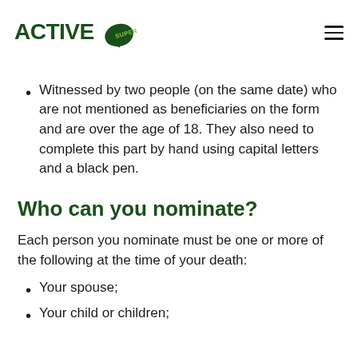ACTIVE SUPER
Witnessed by two people (on the same date) who are not mentioned as beneficiaries on the form and are over the age of 18. They also need to complete this part by hand using capital letters and a black pen.
Who can you nominate?
Each person you nominate must be one or more of the following at the time of your death:
Your spouse;
Your child or children;